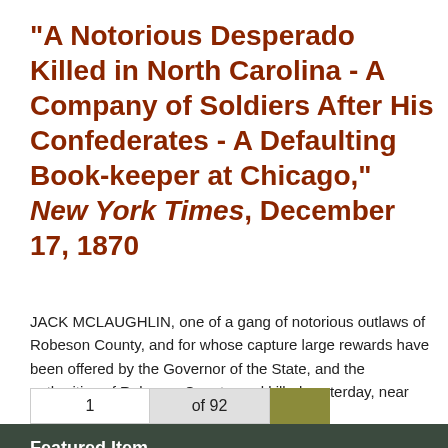"A Notorious Desperado Killed in North Carolina - A Company of Soldiers After His Confederates - A Defaulting Book-keeper at Chicago," New York Times, December 17, 1870
JACK MCLAUGHLIN, one of a gang of notorious outlaws of Robeson County, and for whose capture large rewards have been offered by the Governor of the State, and the authorities of Robeson County, and killed yesterday, near Vigil, by Henry Biggs....
Featured Item